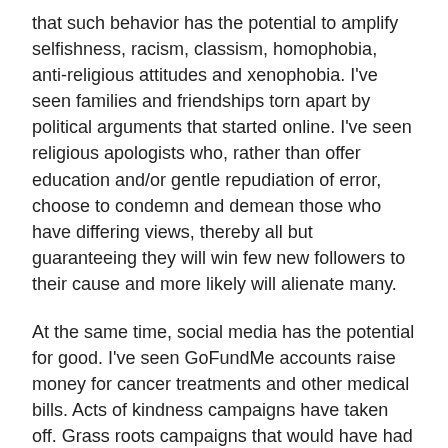that such behavior has the potential to amplify selfishness, racism, classism, homophobia, anti-religious attitudes and xenophobia. I've seen families and friendships torn apart by political arguments that started online. I've seen religious apologists who, rather than offer education and/or gentle repudiation of error, choose to condemn and demean those who have differing views, thereby all but guaranteeing they will win few new followers to their cause and more likely will alienate many.
At the same time, social media has the potential for good. I've seen GoFundMe accounts raise money for cancer treatments and other medical bills. Acts of kindness campaigns have taken off. Grass roots campaigns that would have had a much harder time spreading the word now grow overnight. I've also seen religious figures use social media to educate, encourage and start open discussions. The Slate Project's #SlateSpeak is a personal favorite of mine for asking tough questions, sparking social justice discussions and encouraging action.